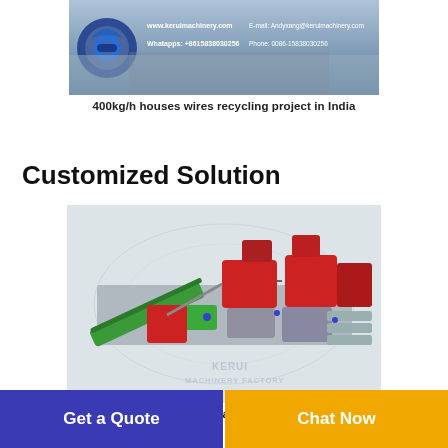[Figure (photo): Top banner image showing Kerui Machinery branding with contact information including website www.keruimachinery.com, email, WhatsApp and phone number +8615838030256]
400kg/h houses wires recycling project in India
Customized Solution
[Figure (engineering-diagram): 3D rendering of KR800 Copper Wire Granulation Machine showing red and green colored industrial machinery components with conveyor belt, KERUI MACHINERY FACTORY watermark]
KR800 Copper Wrie Granulation Machine with
Get a Quote
Chat Now